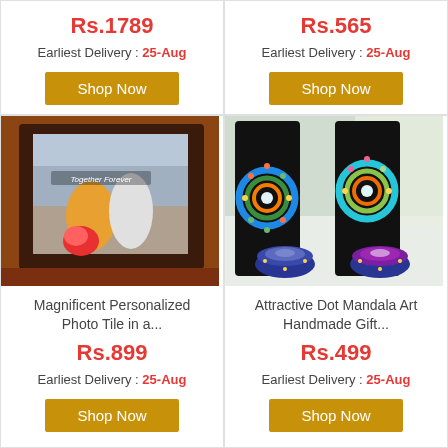Rs.1789
Earliest Delivery : 25-Aug
Shop Now
Rs.565
Earliest Delivery : 25-Aug
Shop Now
[Figure (photo): Personalized photo tile in a dark wooden easel frame showing a couple with flowers, text 'Together Forever']
Magnificent Personalized Photo Tile in a...
Rs.899
Earliest Delivery : 25-Aug
Shop Now
[Figure (photo): Attractive Dot Mandala Art Handmade Gift with colorful mandala pattern on a U-shaped stand and two decorative tealight holders]
Attractive Dot Mandala Art Handmade Gift...
Rs.499
Earliest Delivery : 25-Aug
Shop Now